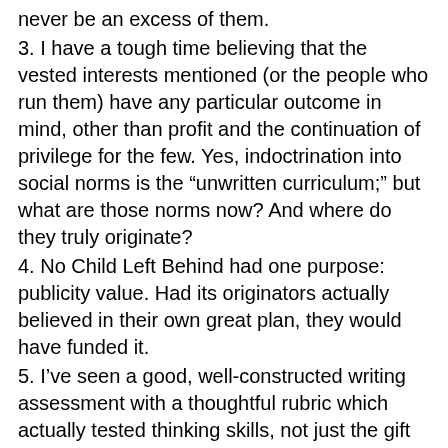never be an excess of them.
3. I have a tough time believing that the vested interests mentioned (or the people who run them) have any particular outcome in mind, other than profit and the continuation of privilege for the few. Yes, indoctrination into social norms is the “unwritten curriculum;” but what are those norms now? And where do they truly originate?
4. No Child Left Behind had one purpose: publicity value. Had its originators actually believed in their own great plan, they would have funded it.
5. I’ve seen a good, well-constructed writing assessment with a thoughtful rubric which actually tested thinking skills, not just the gift of test gab. Unfortunately, I’ve seen it as part of the NINETEEN INSTRUCTIONAL DAYS now lost each year in my district to standardized testing.
6. Children are not refrigerators, or tires , or laptops, or any kind of standardized product. Testing them to determine my competence as a teacher (NCLB) is ludicrous. Assess them to determine their skills; assess me to determine mine.